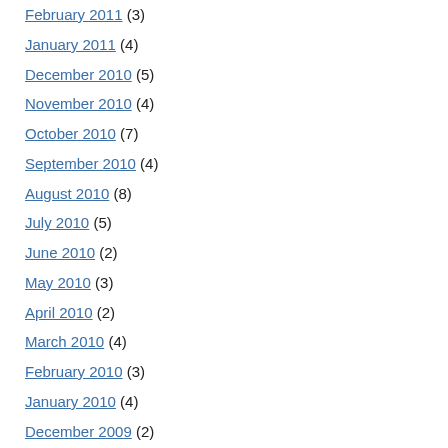February 2011 (3)
January 2011 (4)
December 2010 (5)
November 2010 (4)
October 2010 (7)
September 2010 (4)
August 2010 (8)
July 2010 (5)
June 2010 (2)
May 2010 (3)
April 2010 (2)
March 2010 (4)
February 2010 (3)
January 2010 (4)
December 2009 (2)
November 2009 (8)
October 2009 (3)
September 2009 (2)
August 2009 (2)